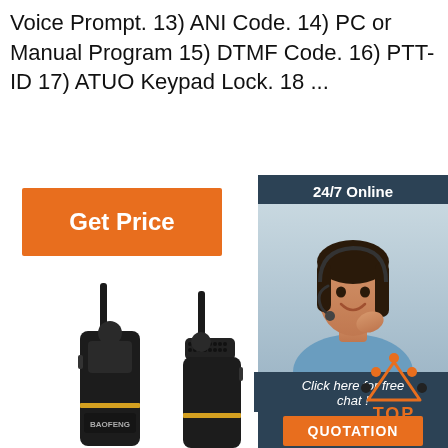Voice Prompt. 13) ANI Code. 14) PC or Manual Program 15) DTMF Code. 16) PTT-ID 17) ATUO Keypad Lock. 18 ...
[Figure (illustration): Orange 'Get Price' button]
[Figure (illustration): Customer service chat widget with '24/7 Online' header, photo of smiling woman with headset, 'Click here for free chat!' text, and orange QUOTATION button]
[Figure (photo): Two BAOFENG walkie-talkie radios shown from the front/side]
[Figure (logo): Orange and dark 'TOP' logo with dot/triangle design above the text]